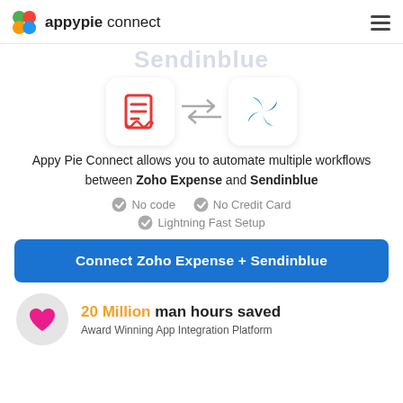appypie connect
[Figure (screenshot): Zoho Expense and Sendinblue app integration icons with arrows between them, on white card backgrounds]
Appy Pie Connect allows you to automate multiple workflows between Zoho Expense and Sendinblue
No code
No Credit Card
Lightning Fast Setup
Connect Zoho Expense + Sendinblue
20 Million man hours saved
Award Winning App Integration Platform